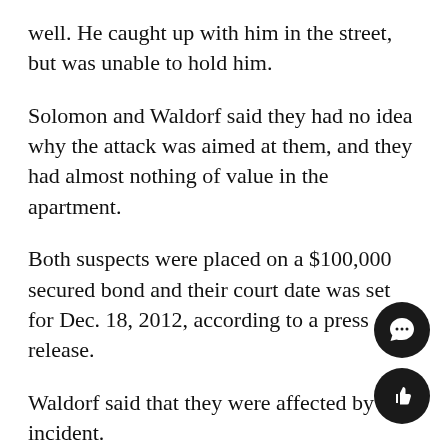well. He caught up with him in the street, but was unable to hold him.
Solomon and Waldorf said they had no idea why the attack was aimed at them, and they had almost nothing of value in the apartment.
Both suspects were placed on a $100,000 secured bond and their court date was set for Dec. 18, 2012, according to a press release.
Waldorf said that they were affected by the incident.
“You don’t expect things like that to happen at 7 p.m.,” Waldorf said. “It was a little harder to go sleep that night, but I don’t believe that fear should control your life. I’m not going to live my life in fear. If it happens again, hopefully I’ll re better than the time before.”